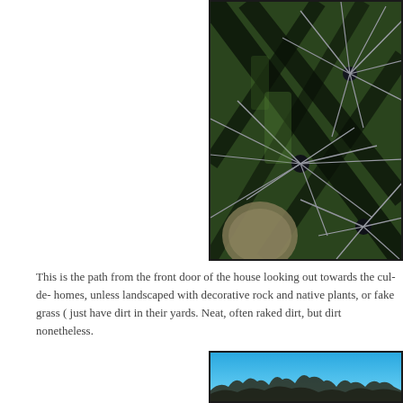[Figure (photo): Close-up photograph of a cactus with long sharp spines and dramatic shadows on green cactus body, partial view cropped on right side]
This is the path from the front door of the house looking out towards the cul-de-homes, unless landscaped with decorative rock and native plants, or fake grass (just have dirt in their yards. Neat, often raked dirt, but dirt nonetheless.
[Figure (photo): Photograph showing bright blue sky with sparse desert shrubs or trees visible at the bottom, partial view cropped on right side]